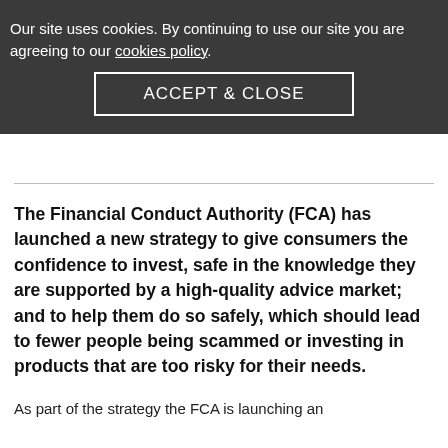Our site uses cookies. By continuing to use our site you are agreeing to our cookies policy.
ACCEPT & CLOSE
23rd May 2022
All, General Insurance, Pensions & Retirement
The Financial Conduct Authority (FCA) has launched a new strategy to give consumers the confidence to invest, safe in the knowledge they are supported by a high-quality advice market; and to help them do so safely, which should lead to fewer people being scammed or investing in products that are too risky for their needs.
As part of the strategy the FCA is launching an